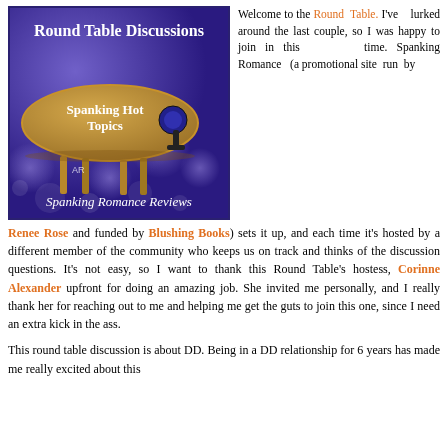[Figure (illustration): Round Table Discussions image with a round table shape labeled 'Spanking Hot Topics' on a purple/blue bokeh background, with text 'Spanking Romance Reviews' at the bottom and 'Round Table Discussions' at the top.]
Welcome to the Round Table. I've lurked around the last couple, so I was happy to join in this time. Spanking Romance (a promotional site run by Renee Rose and funded by Blushing Books) sets it up, and each time it's hosted by a different member of the community who keeps us on track and thinks of the discussion questions. It's not easy, so I want to thank this Round Table's hostess, Corinne Alexander upfront for doing an amazing job. She invited me personally, and I really thank her for reaching out to me and helping me get the guts to join this one, since I need an extra kick in the ass.
This round table discussion is about DD. Being in a DD relationship for 6 years has made me really excited about this